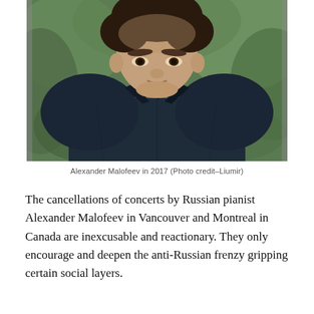[Figure (photo): Portrait photo of a young man (Alexander Malofeev) in a dark navy blue shirt, photographed outdoors with blurred green foliage in the background. The photo is taken in 2017.]
Alexander Malofeev in 2017 (Photo credit–Liumir)
The cancellations of concerts by Russian pianist Alexander Malofeev in Vancouver and Montreal in Canada are inexcusable and reactionary. They only encourage and deepen the anti-Russian frenzy gripping certain social layers.